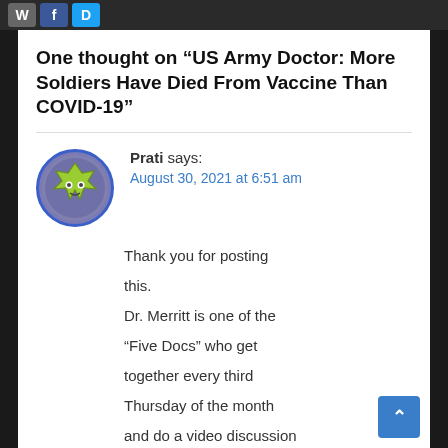One thought on “US Army Doctor: More Soldiers Have Died From Vaccine Than COVID-19”
Prati says: August 30, 2021 at 6:51 am
Thank you for posting this. Dr. Merritt is one of the “Five Docs” who get together every third Thursday of the month and do a video discussion about the latest